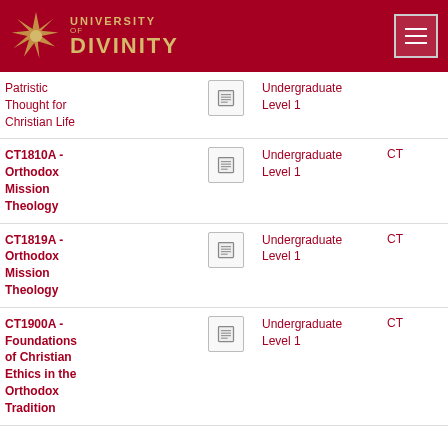University of Divinity
| Course |  | Level | Type | Points |
| --- | --- | --- | --- | --- |
| Patristic Thought for Christian Life |  | Undergraduate Level 1 |  |  |
| CT1810A - Orthodox Mission Theology |  | Undergraduate Level 1 | CT | 18.0 |
| CT1819A - Orthodox Mission Theology |  | Undergraduate Level 1 | CT | 18.0 |
| CT1900A - Foundations of Christian Ethics in the Orthodox Tradition |  | Undergraduate Level 1 | CT | 18.0 |